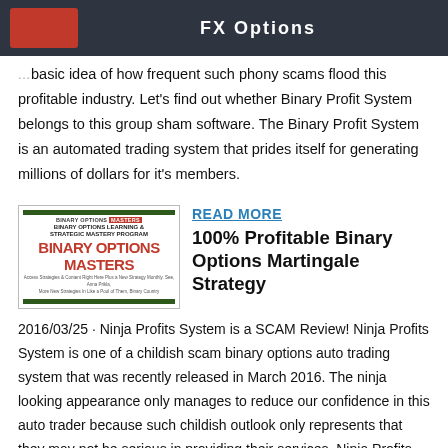FX Options
basic idea of how frequent such phony scams flood this profitable industry. Let's find out whether Binary Profit System belongs to this group sham software. The Binary Profit System is an automated trading system that prides itself for generating millions of dollars for it's members.
[Figure (illustration): Binary Options Masters book/program cover with red logo text and green bars]
READ MORE
100% Profitable Binary Options Martingale Strategy
2016/03/25 · Ninja Profits System is a SCAM Review! Ninja Profits System is one of a childish scam binary options auto trading system that was recently released in March 2016. The ninja looking appearance only manages to reduce our confidence in this auto trader because such childish outlook only represents that they may not be serious in providing their services. Ninja Profits System